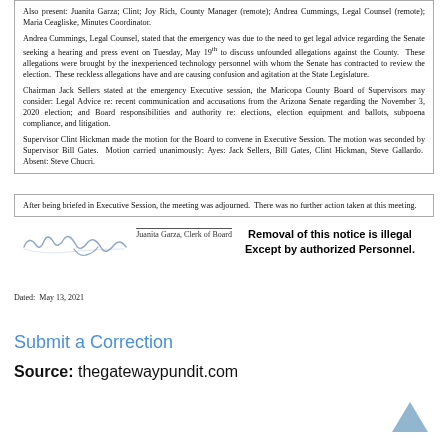Also present: Juanita Garza; Clint; Joy Rich, County Manager (remote); Andrea Cummings, Legal Counsel (remote); Maria Ceagliske, Minutes Coordinator.
Andrea Cummings, Legal Counsel, stated that the emergency was due to the need to get legal advice regarding the Senate seeking a hearing and press event on Tuesday, May 19th to discuss unfounded allegations against the County. These allegations were brought by the inexperienced technology personnel with whom the Senate has contracted to review the election. These reckless allegations have and are causing confusion and agitation at the State Legislature.
Chairman Jack Sellers stated at the emergency Executive session, the Maricopa County Board of Supervisors may consider: Legal Advice re: recent communication and accusations from the Arizona Senate regarding the November 3, 2020 election; and Board responsibilities and authority re: elections, election equipment and ballots, subpoena compliance, and litigation.
Supervisor Clint Hickman made the motion for the Board to convene in Executive Session. The motion was seconded by Supervisor Bill Gates. Motion carried unanimously: Ayes: Jack Sellers, Bill Gates, Clint Hickman, Steve Gallardo. Absent: Steve Chucri.
After being briefed in Executive Session, the meeting was adjourned. There was no further action taken at this meeting.
Juanita Garza, Clerk of Board
Dated: May 13, 2021
Removal of this notice is illegal Except by authorized Personnel.
Submit a Correction
Source: thegatewaypundit.com